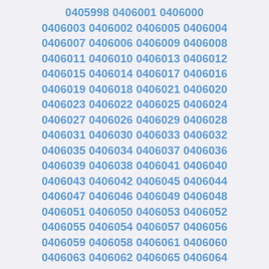0405998 0406001 0406000
0406003 0406002 0406005 0406004
0406007 0406006 0406009 0406008
0406011 0406010 0406013 0406012
0406015 0406014 0406017 0406016
0406019 0406018 0406021 0406020
0406023 0406022 0406025 0406024
0406027 0406026 0406029 0406028
0406031 0406030 0406033 0406032
0406035 0406034 0406037 0406036
0406039 0406038 0406041 0406040
0406043 0406042 0406045 0406044
0406047 0406046 0406049 0406048
0406051 0406050 0406053 0406052
0406055 0406054 0406057 0406056
0406059 0406058 0406061 0406060
0406063 0406062 0406065 0406064
0406067 0406066 0406069 0406068
0406071 0406070 0406073 0406072
0406075 0406074 0406077 0406076
0406079 0406078 0406081 0406080
0406083 0406082 0406085 0406084
0406087 0406086 0406089 0406088
0406091 0406090 0406093 0406092
0406095 0406094 0406097 0406096
0406099 0406098 0406101 0406100
0406103 0406102 0406105 0406104